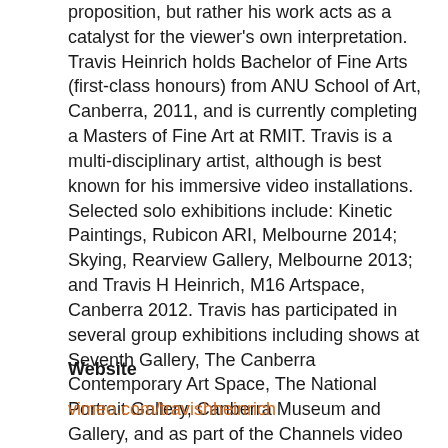proposition, but rather his work acts as a catalyst for the viewer's own interpretation. Travis Heinrich holds Bachelor of Fine Arts (first-class honours) from ANU School of Art, Canberra, 2011, and is currently completing a Masters of Fine Art at RMIT. Travis is a multi-disciplinary artist, although is best known for his immersive video installations. Selected solo exhibitions include: Kinetic Paintings, Rubicon ARI, Melbourne 2014; Skying, Rearview Gallery, Melbourne 2013; and Travis H Heinrich, M16 Artspace, Canberra 2012. Travis has participated in several group exhibitions including shows at Seventh Gallery, The Canberra Contemporary Art Space, The National Portrait Gallery, Canberra Museum and Gallery, and as part of the Channels video art festival.
Website
vimeo.com/travishheinrich